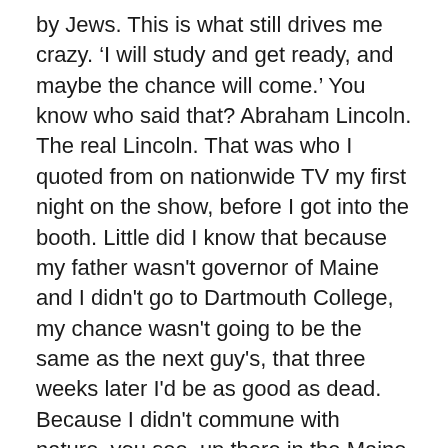by Jews. This is what still drives me crazy. ‘I will study and get ready, and maybe the chance will come.’ You know who said that? Abraham Lincoln. The real Lincoln. That was who I quoted from on nationwide TV my first night on the show, before I got into the booth. Little did I know that because my father wasn't governor of Maine and I didn't go to Dartmouth College, my chance wasn't going to be the same as the next guy's, that three weeks later I'd be as good as dead. Because I didn't commune with nature, you see, up there in the Maine woods. Because while Hewlett was sitting on his ass studying to lie at Dartmouth College, I was serving this country in two
wars. Two years in World War II and then I get called back for Korea! But this is all in my book. Whether it's all going to get in the musical, well, how could it? Face facts. You know this country better than anybody. There are people that, as soon as word gets out that I'm working on what I'm working on with Marty Paté, who are going to put the